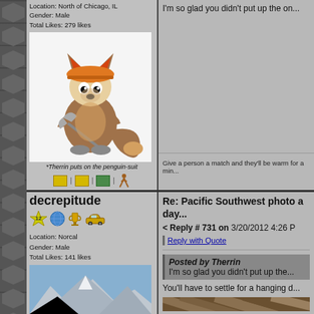Location: North of Chicago, IL
Gender: Male
Total Likes: 279 likes
[Figure (illustration): Cartoon fox/squirrel character wearing an orange hard hat and holding a pickaxe, sitting down. Caption: *Therrin puts on the penguin-suit]
*Therrin puts on the penguin-suit
I'm so glad you didn't put up the on...
Give a person a match and they'll be warm for a min...
decrepitude
Location: Norcal
Gender: Male
Total Likes: 141 likes
Re: Pacific Southwest photo a day...
< Reply # 731 on 3/20/2012 4:26 P
| Reply with Quote
Posted by Therrin
I'm so glad you didn't put up the...
You'll have to settle for a hanging d...
[Figure (photo): Mountain landscape photo with rocky terrain and mountains in the background]
[Figure (photo): Close-up photo of wooden planks or boards at an angle]